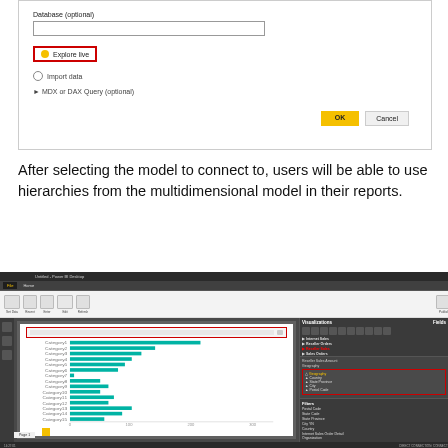[Figure (screenshot): Power BI Desktop connection dialog showing Database (optional) field, Explore live radio button selected (highlighted with red border), Import data radio button, MDX or DAX Query (optional) section, and OK/Cancel buttons.]
After selecting the model to connect to, users will be able to use hierarchies from the multidimensional model in their reports.
[Figure (screenshot): Power BI Desktop application window showing a horizontal bar chart visualization with teal/green bars of varying lengths, a red-bordered search box at the top, and right-side panels showing Visualizations and Fields panels with Geography hierarchy fields highlighted in red boxes.]